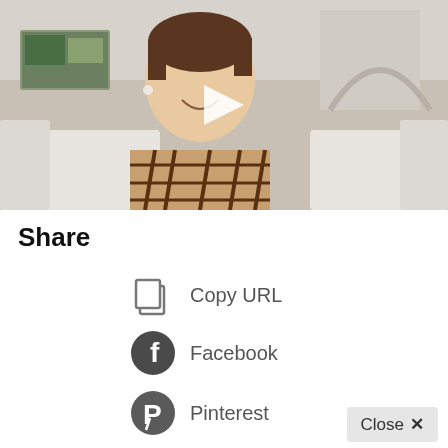[Figure (screenshot): Video thumbnail showing a young man smiling, wearing a plaid shirt, sitting on a white couch in a living room. A play button triangle is overlaid in the center.]
Share
Copy URL
Facebook
Pinterest
Close ×